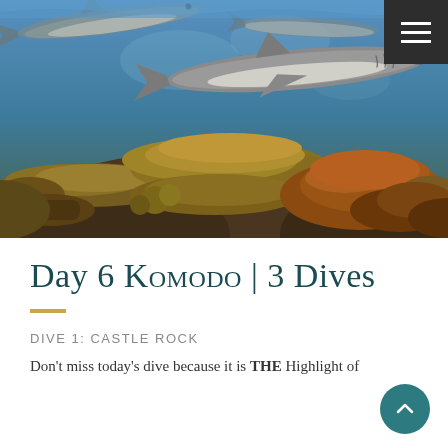[Figure (photo): Underwater photograph of a coral reef scene with sharks swimming above large flat coral formations and colorful reef structures, taken in Komodo, Indonesia.]
Day 6 Komodo | 3 Dives
Dive 1: Castle Rock
Don't miss today's dive because it is THE Highlight of